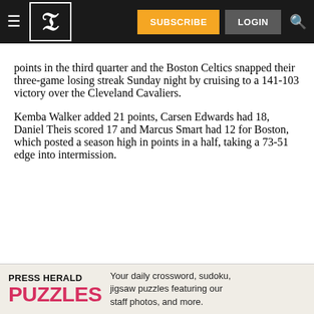SUBSCRIBE  LOGIN
points in the third quarter and the Boston Celtics snapped their three-game losing streak Sunday night by cruising to a 141-103 victory over the Cleveland Cavaliers.
Kemba Walker added 21 points, Carsen Edwards had 18, Daniel Theis scored 17 and Marcus Smart had 12 for Boston, which posted a season high in points in a half, taking a 73-51 edge into intermission.
[Figure (infographic): Press Herald Puzzles advertisement banner: Your daily crossword, sudoku, jigsaw puzzles featuring our staff photos, and more.]